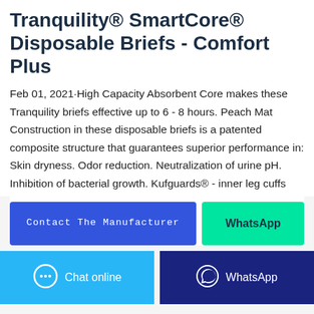Tranquility® SmartCore® Disposable Briefs - Comfort Plus
Feb 01, 2021·High Capacity Absorbent Core makes these Tranquility briefs effective up to 6 - 8 hours. Peach Mat Construction in these disposable briefs is a patented composite structure that guarantees superior performance in: Skin dryness. Odor reduction. Neutralization of urine pH. Inhibition of bacterial growth. Kufguards® - inner leg cuffs